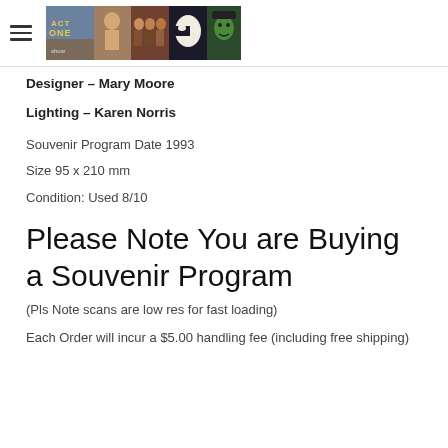ACT ONE banner with theatre show images
Designer - Mary Moore
Lighting - Karen Norris
Souvenir Program Date 1993
Size 95 x 210 mm
Condition: Used 8/10
Please Note You are Buying a Souvenir Program
(Pls Note scans are low res for fast loading)
Each Order will incur a $5.00 handling fee (including free shipping)